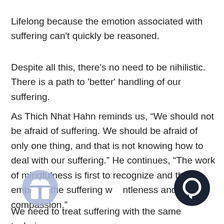Lifelong because the emotion associated with suffering can't quickly be reasoned.
Despite all this, there's no need to be nihilistic. There is a path to 'better' handling of our suffering.
As Thich Nhat Hahn reminds us, “We should not be afraid of suffering. We should be afraid of only one thing, and that is not knowing how to deal with our suffering.” He continues, “The work of mindfulness is first to recognize and then to embrace the suffering w…ntleness and compassion.”
[Figure (illustration): A light blue circle with a gift/present icon inside (white gift box with ribbon), partially overlapping text.]
[Figure (illustration): A dark navy/black circle with a white chat bubble icon inside, positioned at the bottom right.]
We need to treat suffering with the same technique